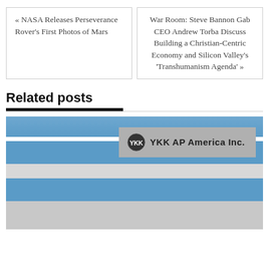« NASA Releases Perseverance Rover's First Photos of Mars
War Room: Steve Bannon Gab CEO Andrew Torba Discuss Building a Christian-Centric Economy and Silicon Valley's 'Transhumanism Agenda' »
Related posts
[Figure (photo): Exterior photo of a YKK AP America Inc. building with blue facade and corporate signage]